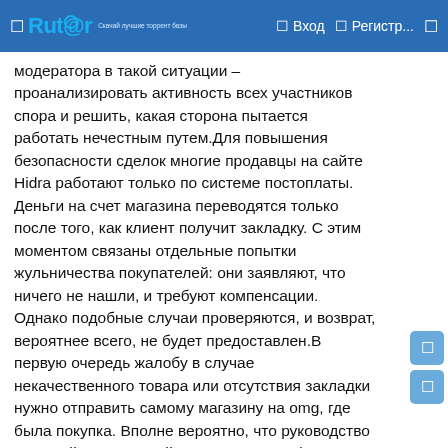Rutor — Вход — Регистр...
модератора в такой ситуации – проанализировать активность всех участников спора и решить, какая сторона пытается работать нечестным путем.Для повышения безопасности сделок многие продавцы на сайте Hidra работают только по системе постоплаты. Деньги на счет магазина переводятся только после того, как клиент получит закладку. С этим моментом связаны отдельные попытки жульничества покупателей: они заявляют, что ничего не нашли, и требуют компенсации. Однако подобные случаи проверяются, и возврат, вероятнее всего, не будет предоставлен.В первую очередь жалобу в случае некачественного товара или отсутствия закладки нужно отправить самому магазину на omg, где была покупка. Вполне вероятно, что руководство торговой виртуальной точки решит конфликт самостоятельно. Продавцы в подобных случаях практикуют повторные закладки или возврат средств. Выбор подходящего обеим сторонам способа решается дополнительно в личном чате.Если представители магазина не идут на контакт, придется